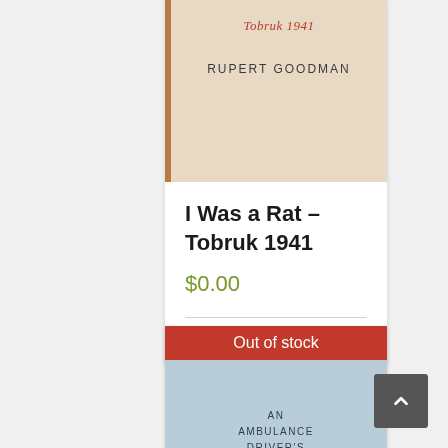[Figure (photo): Book cover of 'I Was a Rat – Tobruk 1941' by Rupert Goodman, beige/tan colored cover with red subtitle text and author name in spaced uppercase letters]
I Was a Rat – Tobruk 1941
$0.00
Details
Out of stock
[Figure (photo): Book cover of 'An Ambulance Driver's War', light blue cover with small uppercase text in the center]